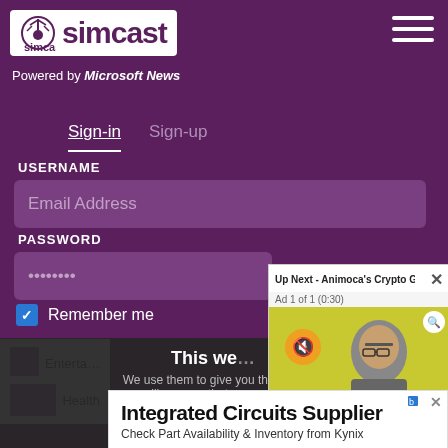[Figure (screenshot): Simcast logo with antenna icon, white box on purple background, 'Powered by Microsoft News' text below]
Sign-in   Sign-up
USERNAME
Email Address
PASSWORD
••••••••
Remember me
This we...
We use them to give you the be... will assume that you are...
Co...
[Figure (screenshot): Video ad overlay: 'Up Next - Animoca's Crypto Gaming Am...' with close X button, Ad 1 of 1 (0:30) label, mute button, photo of Asian man in gray jacket]
[Figure (screenshot): Ad banner: Integrated Circuits Supplier, Check Part Availability & Inventory from Kynix, Get Quote button]
Enterta...
Health